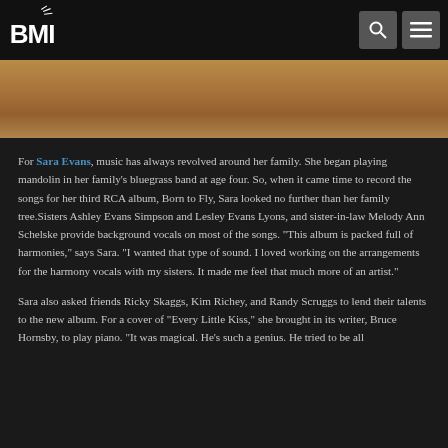BMI
[Figure (photo): Partial image of Sara Evans, cropped at top of content area, showing warm tones]
For Sara Evans, music has always revolved around her family. She began playing mandolin in her family's bluegrass band at age four. So, when it came time to record the songs for her third RCA album, Born to Fly, Sara looked no further than her family tree.Sisters Ashley Evans Simpson and Lesley Evans Lyons, and sister-in-law Melody Ann Schelske provide background vocals on most of the songs. "This album is packed full of harmonies," says Sara. "I wanted that type of sound. I loved working on the arrangements for the harmony vocals with my sisters. It made me feel that much more of an artist."
Sara also asked friends Ricky Skaggs, Kim Richey, and Randy Scruggs to lend their talents to the new album. For a cover of "Every Little Kiss," she brought in its writer, Bruce Hornsby, to play piano. "It was magical. He's such a genius. He tried to be all